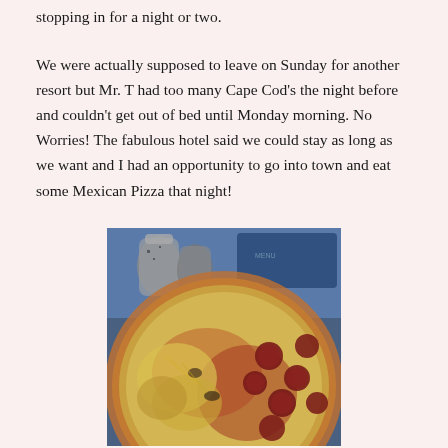stopping in for a night or two.
We were actually supposed to leave on Sunday for another resort but Mr. T had too many Cape Cod's the night before and couldn't get out of bed until Monday morning. No Worries! The fabulous hotel said we could stay as long as we want and I had an opportunity to go into town and eat some Mexican Pizza that night!
[Figure (photo): Close-up photo of a pizza with melted cheese and pepperoni toppings, with condiment shakers visible in the background on a restaurant table with a blue tablecloth.]